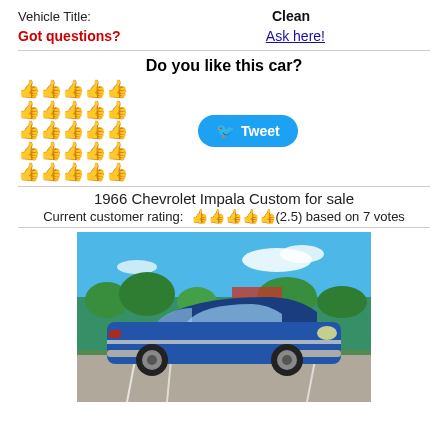Vehicle Title:    Clean
Got questions?    Ask here!
Do you like this car?
[Figure (other): Rating thumbs up grid (5 rows of thumbs, mixed gold and gray) and a Tweet button]
1966 Chevrolet Impala Custom for sale
Current customer rating: 👍👍👍👍👍(2.5) based on 7 votes
[Figure (photo): Photo of a 1966 Chevrolet Impala Custom, blue classic car in a parking lot with blue sky and trees in background]